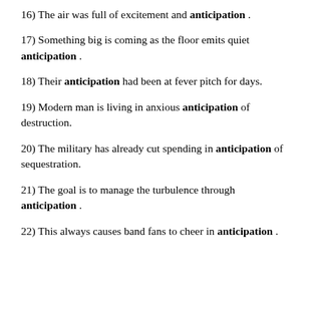16) The air was full of excitement and anticipation .
17) Something big is coming as the floor emits quiet anticipation .
18) Their anticipation had been at fever pitch for days.
19) Modern man is living in anxious anticipation of destruction.
20) The military has already cut spending in anticipation of sequestration.
21) The goal is to manage the turbulence through anticipation .
22) This always causes band fans to cheer in anticipation .